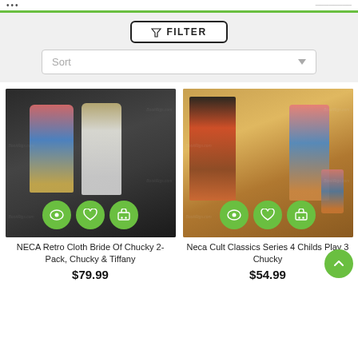... (navigation bar)
FILTER
Sort
[Figure (photo): NECA Retro Cloth Bride Of Chucky 2-Pack, Chucky & Tiffany action figure set in packaging, with eye/heart/cart icons]
NECA Retro Cloth Bride Of Chucky 2-Pack, Chucky & Tiffany
$79.99
[Figure (photo): Neca Cult Classics Series 4 Childs Play 3 Chucky action figure in packaging, with eye/heart/cart icons]
Neca Cult Classics Series 4 Childs Play 3 Chucky
$54.99